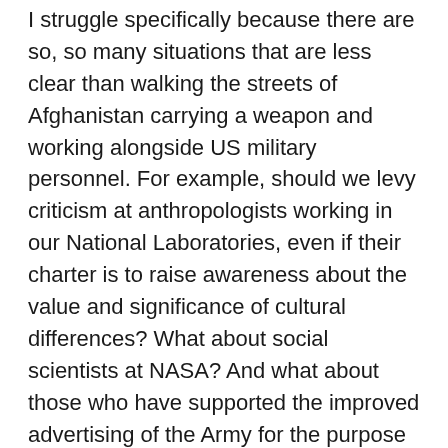I struggle specifically because there are so, so many situations that are less clear than walking the streets of Afghanistan carrying a weapon and working alongside US military personnel.  For example, should we levy criticism at anthropologists working in our National Laboratories, even if their charter is to raise awareness about the value and significance of cultural differences?  What about social scientists at NASA?  And what about those who have supported the improved advertising of the Army for the purpose of recruiting young people with the approval of their parents?  And what about those social scientists who work for manufacturers of military equipment like Lockheed Martin?  And now we're really close to the heart of the issue … because in fact, SAP is a software provider for multiple branches of the US military.  Now, I am not personally responsible for the development of our software, nor for the implementation of that software to